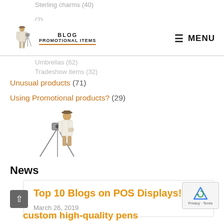Sterling charms (40)
(2)
BLOG PROMOTIONAL ITEMS
MENU
Umbrellas (62)
Tradeshow items (32)
Unusual products (71)
Using Promotional products? (29)
[Figure (illustration): Illustration of a person in a white coat standing next to a surveying tripod/camera equipment]
News
Top 10 Blogs on POS Displays!
March 26, 2019
custom high-quality pens